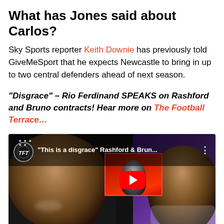What has Jones said about Carlos?
Sky Sports reporter Keith Downie has previously told GiveMeSport that he expects Newcastle to bring in up to two central defenders ahead of next season.
"Disgrace" – Rio Ferdinand SPEAKS on Rashford and Bruno contracts! Hear more on The Football Terrace...
[Figure (screenshot): YouTube video thumbnail showing 'This is a disgrace' Rashford & Brun... with The Football Terrace channel logo, showing Marcus Rashford on left, a thumbnail of Bruno Fernandes in center, and Rio Ferdinand on right with a red YouTube play button overlay]